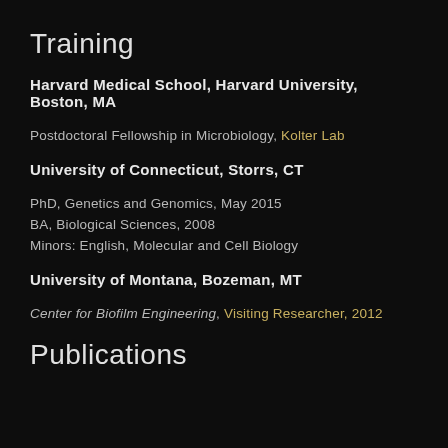Training
Harvard Medical School, Harvard University, Boston, MA
Postdoctoral Fellowship in Microbiology, Kolter Lab
University of Connecticut, Storrs, CT
PhD, Genetics and Genomics, May 2015
BA, Biological Sciences, 2008
Minors: English, Molecular and Cell Biology
University of Montana, Bozeman, MT
Center for Biofilm Engineering, Visiting Researcher, 2012
Publications